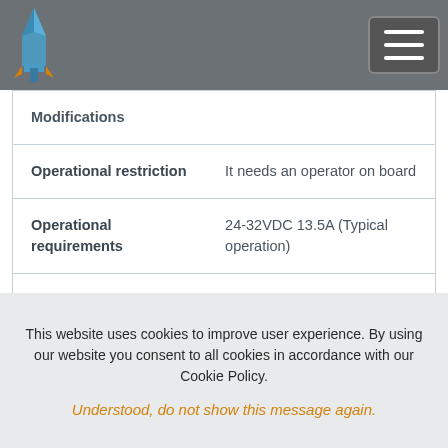Navigation bar with logo and hamburger menu
Modifications
| Field | Value |
| --- | --- |
| Operational restriction | It needs an operator on board |
| Operational requirements | 24-32VDC 13.5A (Typical operation) |
| Certification approvals | Contact to INTA Remote Sensing Lab. |
| Additional information | Contact to |
This website uses cookies to improve user experience. By using our website you consent to all cookies in accordance with our Cookie Policy.
Understood, do not show this message again.